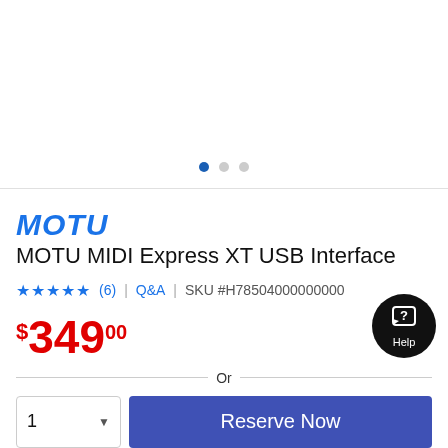[Figure (other): Product image carousel area — white space with three navigation dots at bottom (first dot active/blue, two grey dots)]
MOTU
MOTU MIDI Express XT USB Interface
★★★★★ (6) | Q&A | SKU #H78504000000000
$349.00
Or
1  Reserve Now